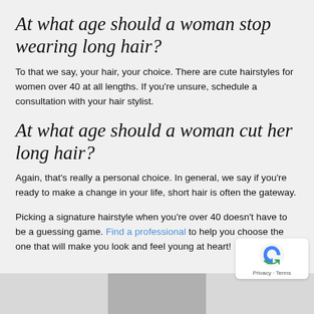At what age should a woman stop wearing long hair?
To that we say, your hair, your choice. There are cute hairstyles for women over 40 at all lengths. If you’re unsure, schedule a consultation with your hair stylist.
At what age should a woman cut her long hair?
Again, that’s really a personal choice. In general, we say if you’re ready to make a change in your life, short hair is often the gateway.
Picking a signature hairstyle when you’re over 40 doesn’t have to be a guessing game. Find a professional to help you choose the one that will make you look and feel young at heart!
[Figure (photo): Partial image of a person, possibly a hairstyle photo, visible at bottom of page]